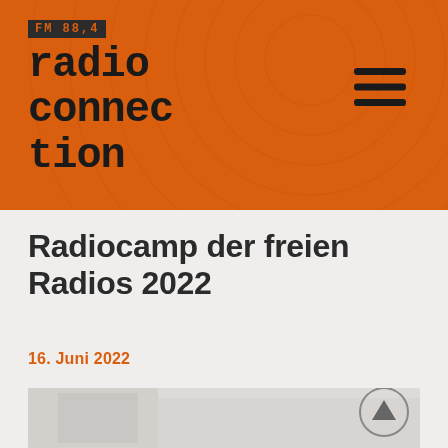FM 88,4 radio connection
Radiocamp der freien Radios 2022
16. Juni 2022
[Figure (photo): Partially visible image below the article title, appears to be a photo related to the Radiocamp event]